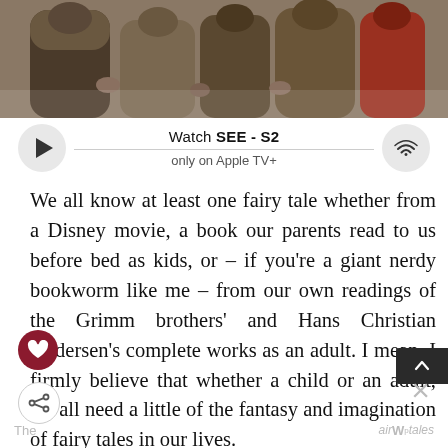[Figure (photo): Screenshot from a TV show or movie showing figures in robes/medieval costumes (appears to be Apple TV+ show SEE Season 2)]
Watch SEE - S2 only on Apple TV+
We all know at least one fairy tale whether from a Disney movie, a book our parents read to us before bed as kids, or – if you're a giant nerdy bookworm like me – from our own readings of the Grimm brothers' and Hans Christian Andersen's complete works as an adult. I mean, I firmly believe that whether a child or an adult, we all need a little of the fantasy and imagination of fairy tales in our lives.
The   air[W]tales